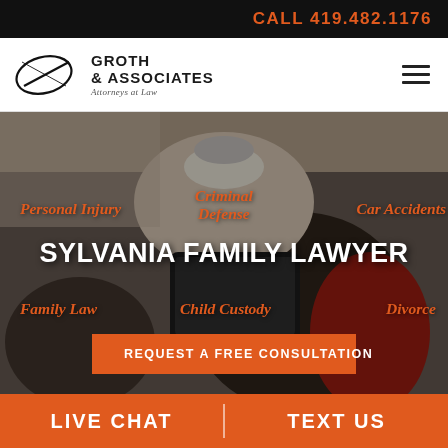CALL 419.482.1176
[Figure (logo): Groth & Associates Attorneys at Law logo with oval swoosh graphic]
GROTH & ASSOCIATES
Attorneys at Law
[Figure (photo): Overhead view of family with children sitting on couch looking at tablet device]
Personal Injury
Criminal Defense
Car Accidents
SYLVANIA FAMILY LAWYER
Family Law
Child Custody
Divorce
REQUEST A FREE CONSULTATION
LIVE CHAT | TEXT US